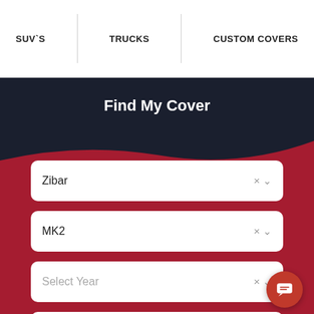SUV`S | TRUCKS | CUSTOM COVERS
Find My Cover
Zibar
MK2
Select Year
Select Body